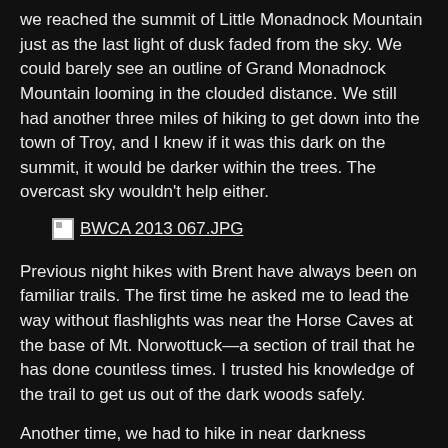we reached the summit of Little Monadnock Mountain just as the last light of dusk faded from the sky. We could barely see an outline of Grand Monadnock Mountain looming in the clouded distance. We still had another three miles of hiking to get down into the town of Troy, and I knew if it was this dark on the summit, it would be darker within the trees. The overcast sky wouldn't help either.
[Figure (photo): Broken image placeholder labeled BWCA 2013 067.JPG]
Previous night hikes with Brent have always been on familiar trails. The first time he asked me to lead the way without flashlights was near the Horse Caves at the base of Mt. Norwottuck—a section of trail that he has done countless times. I trusted his knowledge of the trail to get us out of the dark woods safely.
Another time, we had to hike in near darkness through trees brought down by a bad snowstorm. They completely covered the trail; we had to weave through and around on and off the trail. I had no idea how he could see where he was going, let